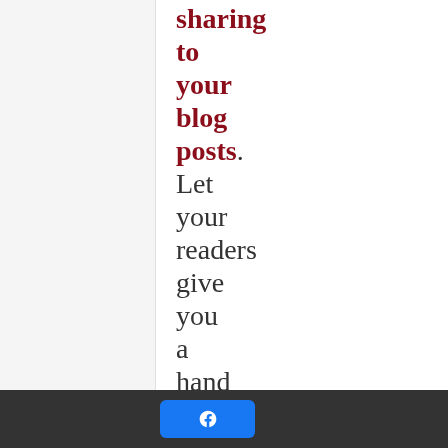sharing to your blog posts. Let your readers give you a hand by discovering and
[Figure (logo): Facebook share button (blue rounded rectangle with Facebook 'f' icon)]